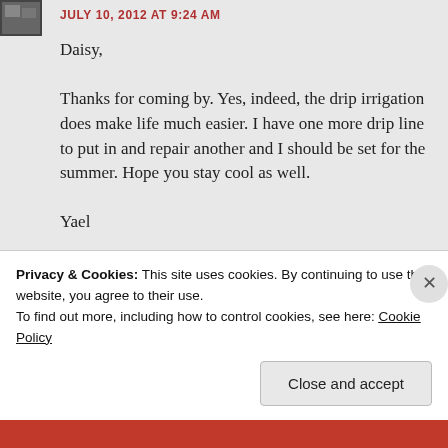[Figure (photo): Small avatar thumbnail image in top-left corner]
JULY 10, 2012 AT 9:24 AM
Daisy,

Thanks for coming by. Yes, indeed, the drip irrigation does make life much easier. I have one more drip line to put in and repair another and I should be set for the summer. Hope you stay cool as well.

Yael
★ Like
Privacy & Cookies: This site uses cookies. By continuing to use this website, you agree to their use.
To find out more, including how to control cookies, see here: Cookie Policy
Close and accept